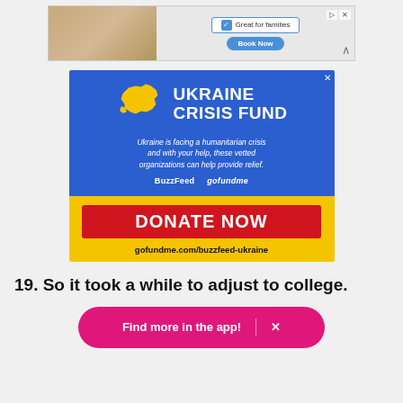[Figure (screenshot): Top banner advertisement showing people dining with text 'Great for families' and a 'Book Now' button in blue]
[Figure (screenshot): Ukraine Crisis Fund advertisement on blue background with yellow Ukraine map silhouette. Text: 'UKRAINE CRISIS FUND', 'Ukraine is facing a humanitarian crisis and with your help, these vetted organizations can help provide relief.', 'BuzzFeed gofundme'. Yellow bottom section with red 'DONATE NOW' button and URL 'gofundme.com/buzzfeed-ukraine']
19. So it took a while to adjust to college.
[Figure (screenshot): Pink rounded app prompt button reading 'Find more in the app!' with an X close icon]